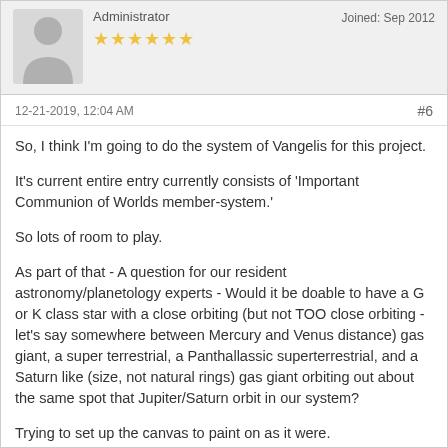Administrator
★★★★★★
Joined: Sep 2012
12-21-2019, 12:04 AM
#6
So, I think I'm going to do the system of Vangelis for this project.

It's current entire entry currently consists of 'Important Communion of Worlds member-system.'

So lots of room to play.

As part of that - A question for our resident astronomy/planetology experts - Would it be doable to have a G or K class star with a close orbiting (but not TOO close orbiting - let's say somewhere between Mercury and Venus distance) gas giant, a super terrestrial, a Panthallassic superterrestrial, and a Saturn like (size, not natural rings) gas giant orbiting out about the same spot that Jupiter/Saturn orbit in our system?

Trying to set up the canvas to paint on as it were.